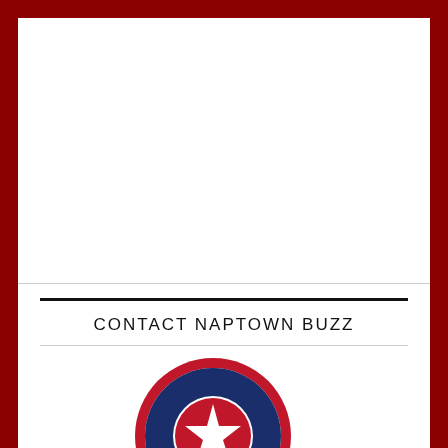CONTACT NAPTOWN BUZZ
[Figure (logo): Naptown Buzz circular logo with red border, blue and white segments, red star in center, text NAPTOWN BUZZ and EST. 2010]